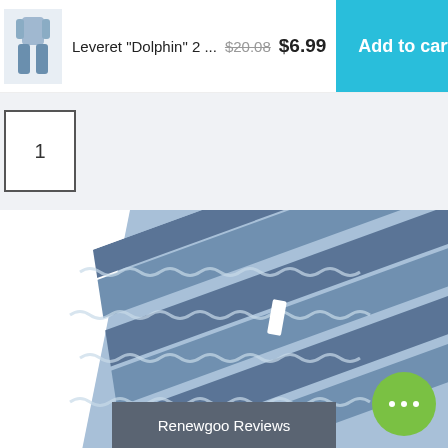[Figure (screenshot): Thumbnail image of Leveret Dolphin pajama item on top bar]
Leveret "Dolphin" 2 ...  $20.08  $6.99
Add to cart
1
[Figure (photo): Close-up photo of blue and grey striped children's pajama pants laid diagonally on white background]
Renewgoo Reviews